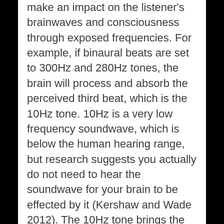make an impact on the listener's brainwaves and consciousness through exposed frequencies. For example, if binaural beats are set to 300Hz and 280Hz tones, the brain will process and absorb the perceived third beat, which is the 10Hz tone. 10Hz is a very low frequency soundwave, which is below the human hearing range, but research suggests you actually do not need to hear the soundwave for your brain to be effected by it (Kershaw and Wade 2012). The 10Hz tone brings the listener into the alpha state, changing consciousness to a pre-sleep state.